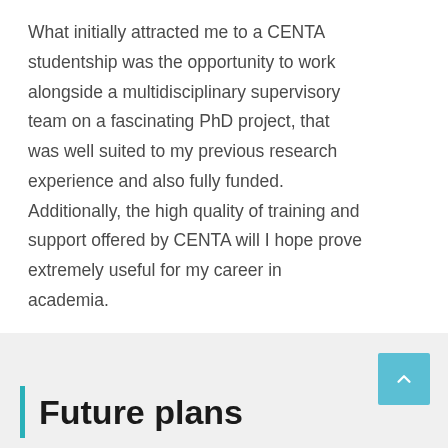What initially attracted me to a CENTA studentship was the opportunity to work alongside a multidisciplinary supervisory team on a fascinating PhD project, that was well suited to my previous research experience and also fully funded. Additionally, the high quality of training and support offered by CENTA will I hope prove extremely useful for my career in academia.
Future plans